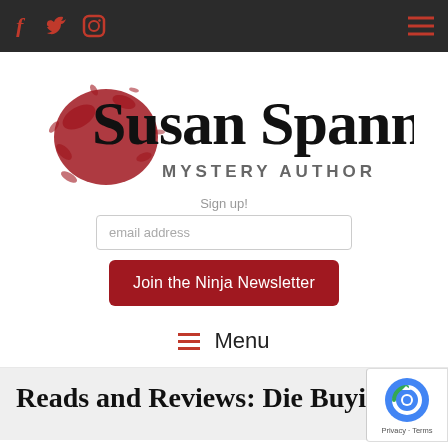Susan Spann Mystery Author - website header with social icons and hamburger menu
[Figure (logo): Susan Spann Mystery Author logo with red ink splatter and handwritten script text over gray MYSTERY AUTHOR text]
Sign up!
email address
Join the Ninja Newsletter
Menu
Reads and Reviews: Die Buying